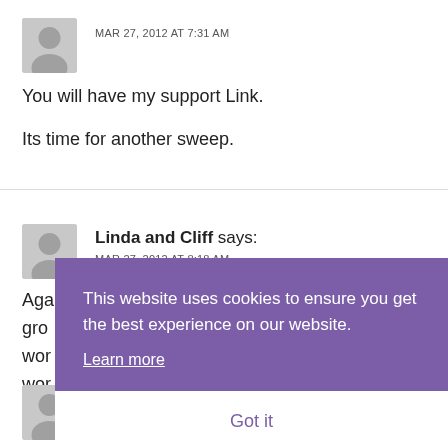MAR 27, 2012 AT 7:31 AM
You will have my support Link.
Its time for another sweep.
Linda and Cliff says:
MAR 27, 2012 AT 8:18 AM
Aga... gro... wor... wor... Linc...
This website uses cookies to ensure you get the best experience on our website. Learn more Got it